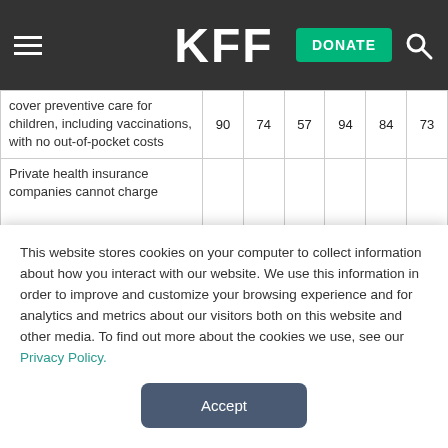KFF
| cover preventive care for children, including vaccinations, with no out-of-pocket costs | 90 | 74 | 57 | 94 | 84 | 73 |
| Private health insurance companies cannot charge… | 83 | 73 | 59 | 92 | 83 | 81 |
This website stores cookies on your computer to collect information about how you interact with our website. We use this information in order to improve and customize your browsing experience and for analytics and metrics about our visitors both on this website and other media. To find out more about the cookies we use, see our Privacy Policy.